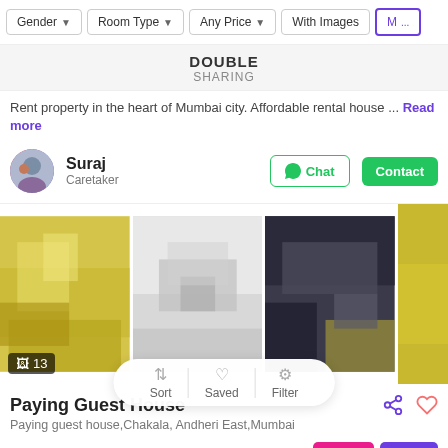Gender | Room Type | Any Price | With Images | Mo...
DOUBLE
SHARING
Rent property in the heart of Mumbai city. Affordable rental house ... Read more
Suraj
Caretaker
[Figure (photo): Three blurred room photos showing yellow room, white room, and dark room]
🖼 13
Paying Guest House
Paying guest house,Chakala, Andheri East,Mumbai
₹6,000/bed — ₹10,000/room
GIRLS  BOYS
TRIPLE   DOUBLE   PRIVATE